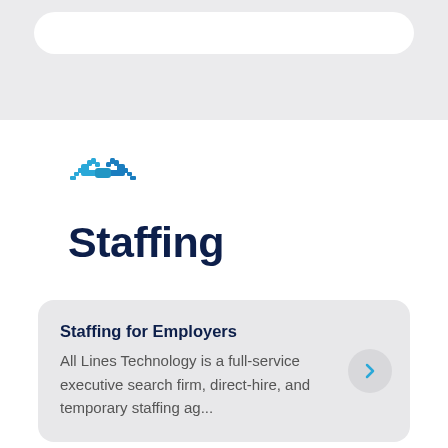[Figure (illustration): Light gray top navigation bar with a white rounded search bar element inside]
[Figure (logo): Blue handshake icon representing staffing/partnership]
Staffing
Staffing for Employers
All Lines Technology is a full-service executive search firm, direct-hire, and temporary staffing ag...